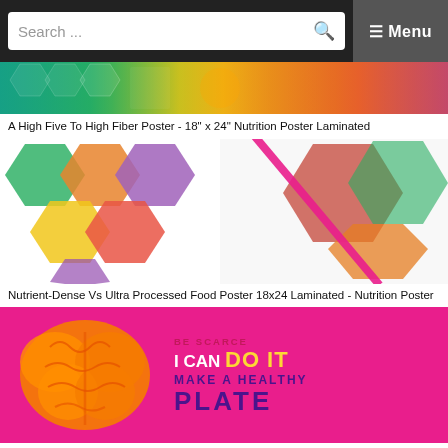Search ... ☰ Menu
[Figure (photo): Colorful nutrition poster banner showing vegetables and food items with hexagonal design elements in teal, green, orange, red and purple]
A High Five To High Fiber Poster - 18" x 24" Nutrition Poster Laminated
[Figure (photo): Nutrient-Dense Vs Ultra Processed Food Poster showing hexagonal food images on left with vegetables and whole foods, and food burger images on right, with a pink diagonal stripe dividing the design on white background]
Nutrient-Dense Vs Ultra Processed Food Poster 18x24 Laminated - Nutrition Poster
[Figure (photo): Keep A Healthy Mindset motivational health poster with pink/magenta background, orange brain illustration on left and motivational text reading BE SCARCE, I CAN DO IT, MAKE A HEALTHY PLATE in white, yellow, and purple]
Keep A Healthy Mindset - Motivational Health Poster 18" x 24" Laminated
[Figure (photo): Bottom portion of a nutrition plate poster showing teal and pink design with text partially visible: YLE, HE, and a milk or equivalent label on the right side]